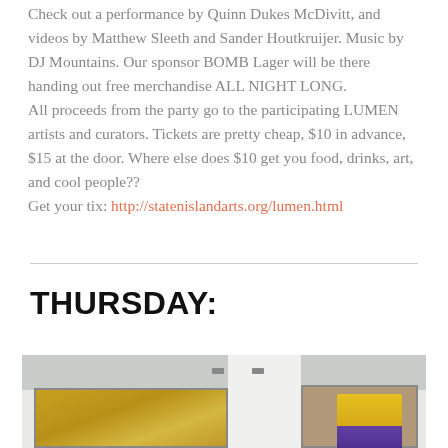Check out a performance by Quinn Dukes McDivitt, and videos by Matthew Sleeth and Sander Houtkruijer. Music by DJ Mountains. Our sponsor BOMB Lager will be there handing out free merchandise ALL NIGHT LONG. All proceeds from the party go to the participating LUMEN artists and curators. Tickets are pretty cheap, $10 in advance, $15 at the door. Where else does $10 get you food, drinks, art, and cool people?? Get your tix: http://statenislandarts.org/lumen.html
THURSDAY:
[Figure (photo): Interior gallery space showing two hanging panels/artworks. Left panel shows a chinoiserie-style painting with birds and flowering branches on a golden background. Right side shows a framed portrait of a figure wearing yellow. White wall with metal hanging hardware visible at top.]